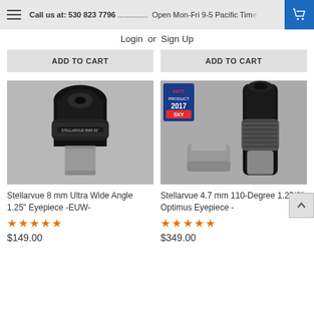Call us at: 530 823 7796 .............. Open Mon-Fri 9-5 Pacific Time
Login  or  Sign Up
ADD TO CART
ADD TO CART
[Figure (photo): Stellarvue 8mm Ultra Wide Angle eyepiece, black cylindrical body with knurled focus ring and silver barrel]
[Figure (photo): Stellarvue 4.7mm 110-Degree 1.25/2-inch Optimus eyepiece with Hot Product 2017 Sky badge, shown with silver adapter]
Stellarvue 8 mm Ultra Wide Angle 1.25" Eyepiece -EUW-
Stellarvue 4.7 mm 110-Degree 1.25/2" Optimus Eyepiece -
★★★★★
★★★★★
$149.00
$349.00